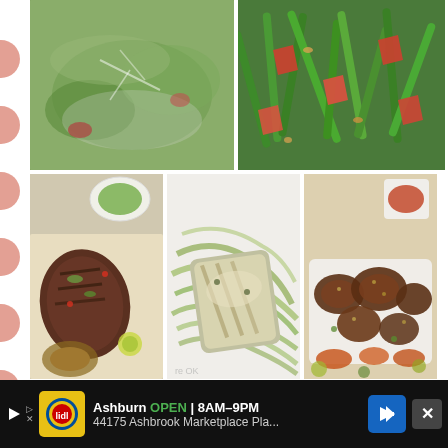[Figure (photo): Food photo collage: top row shows a green salad with hazelnuts and a green bean and tomato salad; bottom row shows grilled steak with sides, grilled fish over zucchini noodles, and roasted chicken with vegetables]
It will all be delicious and you don't have to eat anything you don't want! I will get into more detail in the next blog post about how to prepare, what is
[Figure (screenshot): Advertisement banner: Lidl store ad showing Ashburn OPEN 8AM-9PM, 44175 Ashbrook Marketplace Pla..., with navigation arrow icon and close button]